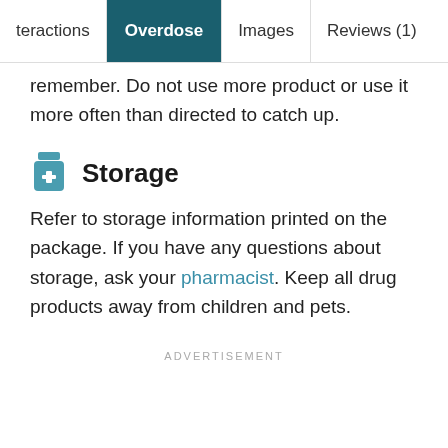teractions | Overdose | Images | Reviews (1)
remember. Do not use more product or use it more often than directed to catch up.
Storage
Refer to storage information printed on the package. If you have any questions about storage, ask your pharmacist. Keep all drug products away from children and pets.
ADVERTISEMENT